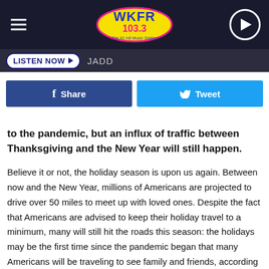[Figure (logo): WKFR 103.3 The #1 Hit Music Station logo on dark header bar with hamburger menu and play button]
LISTEN NOW  JADD
[Figure (infographic): Facebook Share button and Twitter Tweet button side by side]
to the pandemic, but an influx of traffic between Thanksgiving and the New Year will still happen.
Believe it or not, the holiday season is upon us again. Between now and the New Year, millions of Americans are projected to drive over 50 miles to meet up with loved ones. Despite the fact that Americans are advised to keep their holiday travel to a minimum, many will still hit the roads this season: the holidays may be the first time since the pandemic began that many Americans will be traveling to see family and friends, according to travel experts.